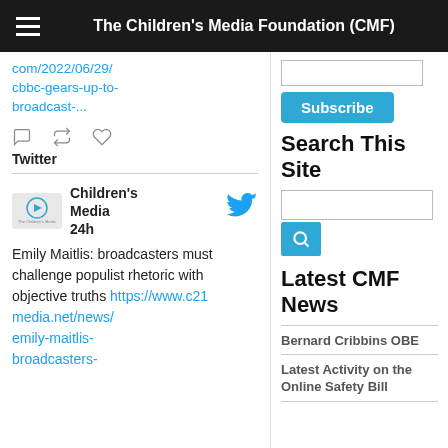The Children's Media Foundation (CMF)
com/2022/06/29/cbbc-gears-up-to-broadcast-...
[Figure (other): Twitter action icons: reply, retweet, like]
Twitter
[Figure (logo): Children's Media Foundation logo]
Children's Media 24h
Emily Maitlis: broadcasters must challenge populist rhetoric with objective truths https://www.c21media.net/news/emily-maitlis-broadcasters-
Subscribe
Search This Site
Latest CMF News
Bernard Cribbins OBE
Latest Activity on the Online Safety Bill